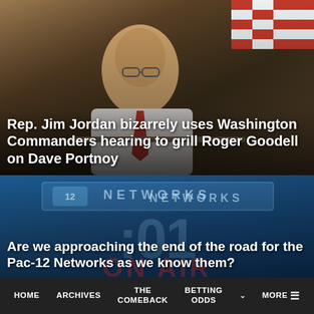[Figure (photo): Man in white shirt with glasses looking down at papers during a congressional hearing, American flag visible in background]
Rep. Jim Jordan bizarrely uses Washington Commanders hearing to grill Roger Goodell on Dave Portnoy
[Figure (screenshot): Pac-12 Networks broadcast graphic with ':01' countdown clock and 'NETWORKS' text on blue background]
Are we approaching the end of the road for the Pac-12 Networks as we know them?
HOME  ARCHIVES  THE COMEBACK  BETTING ODDS  MORE